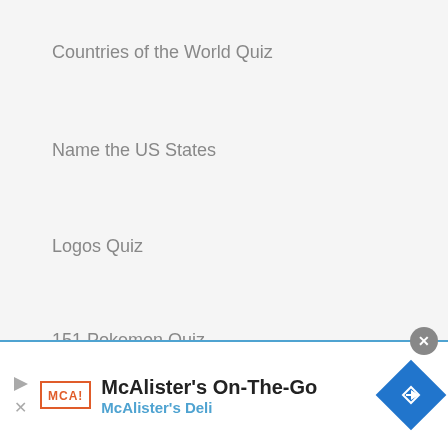Countries of the World Quiz
Name the US States
Logos Quiz
151 Pokemon Quiz
Terms   Privacy
[Figure (other): Social media icons: Facebook, Twitter, YouTube, TikTok, Instagram — all in circle outlines]
View Full Site   Get the App
[Figure (other): Ad banner: McAlister's On-The-Go / McAlister's Deli with logo, play button arrow, MCA logo, and blue diamond navigation icon]